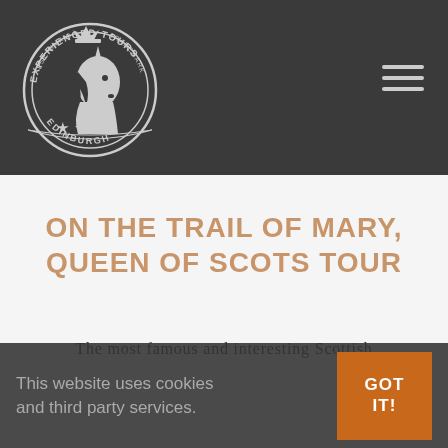[Figure (logo): Experienced Tours Edinburgh circular logo with unicorn, crown, and stars, white on dark background]
ON THE TRAIL OF MARY, QUEEN OF SCOTS TOUR
The most famous and interesting Scottish
This website uses cookies and third party services.
GOT IT!